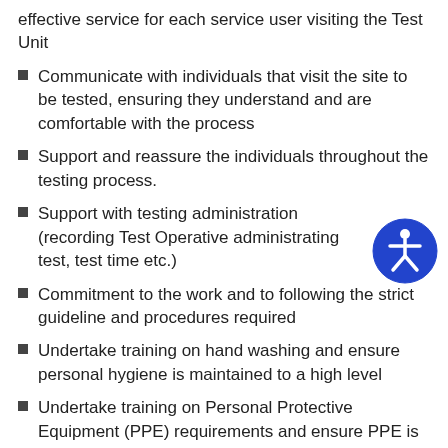effective service for each service user visiting the Test Unit
Communicate with individuals that visit the site to be tested, ensuring they understand and are comfortable with the process
Support and reassure the individuals throughout the testing process.
Support with testing administration (recording Test Operative administrating test, test time etc.)
Commitment to the work and to following the strict guideline and procedures required
Undertake training on hand washing and ensure personal hygiene is maintained to a high level
Undertake training on Personal Protective Equipment (PPE) requirements and ensure PPE is worn and changed as required
Always ensure to adhere to site guidelines and procedures, always wearing the correct PPE as